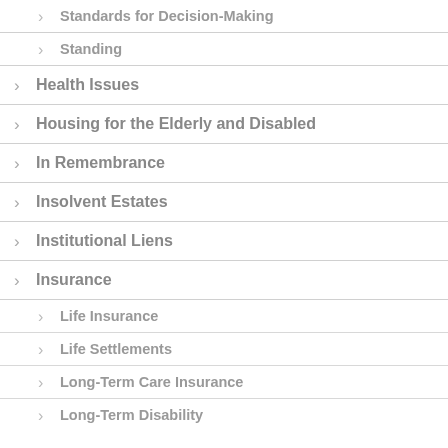Standards for Decision-Making
Standing
Health Issues
Housing for the Elderly and Disabled
In Remembrance
Insolvent Estates
Institutional Liens
Insurance
Life Insurance
Life Settlements
Long-Term Care Insurance
Long-Term Disability